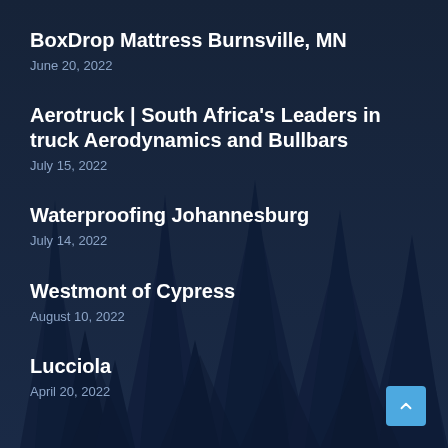[Figure (illustration): Dark navy blue background with silhouette of pine/fir trees, creating a moody forest night scene]
BoxDrop Mattress Burnsville, MN
June 20, 2022
Aerotruck | South Africa's Leaders in truck Aerodynamics and Bullbars
July 15, 2022
Waterproofing Johannesburg
July 14, 2022
Westmont of Cypress
August 10, 2022
Lucciola
April 20, 2022